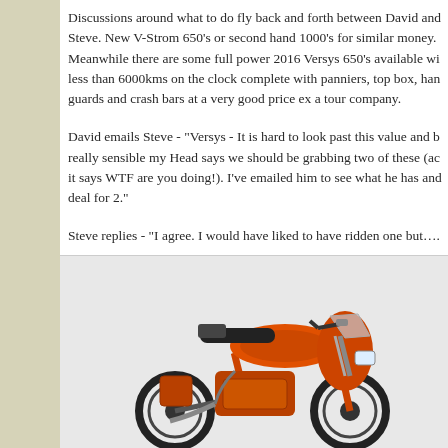Discussions around what to do fly back and forth between David and Steve. New V-Strom 650's or second hand 1000's for similar money. Meanwhile there are some full power 2016 Versys 650's available with less than 6000kms on the clock complete with panniers, top box, hand guards and crash bars at a very good price ex a tour company.
David emails Steve - "Versys - It is hard to look past this value and being really sensible my Head says we should be grabbing two of these (actually it says WTF are you doing!). I've emailed him to see what he has and deal for 2."
Steve replies - "I agree. I would have liked to have ridden one but….
[Figure (photo): Photo of an orange Kawasaki Versys 650 motorcycle on a white background, shown from the right side.]